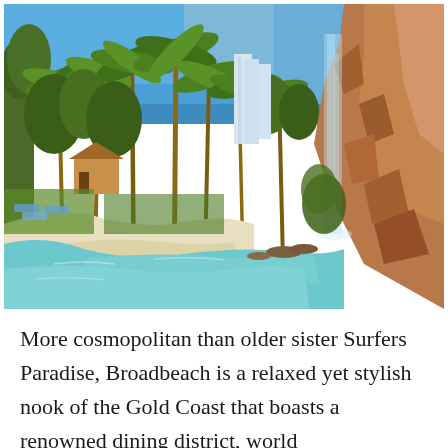[Figure (photo): Tropical resort pool area with palm trees, lush greenery, a lagoon-style pool with clear turquoise water, sandy beach entry, resort bungalows, high-rise buildings in the background, and a rocky waterfall feature on the right side.]
More cosmopolitan than older sister Surfers Paradise, Broadbeach is a relaxed yet stylish nook of the Gold Coast that boasts a renowned dining district, world